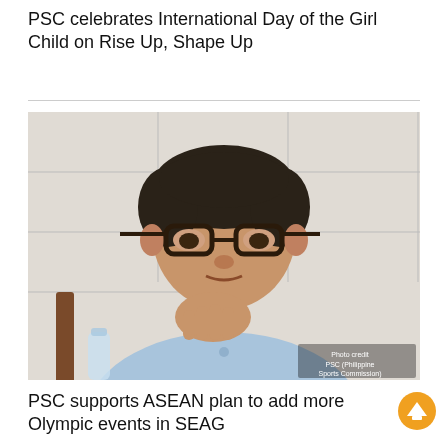PSC celebrates International Day of the Girl Child on Rise Up, Shape Up
[Figure (photo): A middle-aged Filipino man wearing glasses and a light blue polo shirt, seated, resting his chin on his folded hand, in what appears to be an office or meeting room setting. Watermark: Photo credit PSC (Philippine Sports Commission)]
PSC supports ASEAN plan to add more Olympic events in SEAG